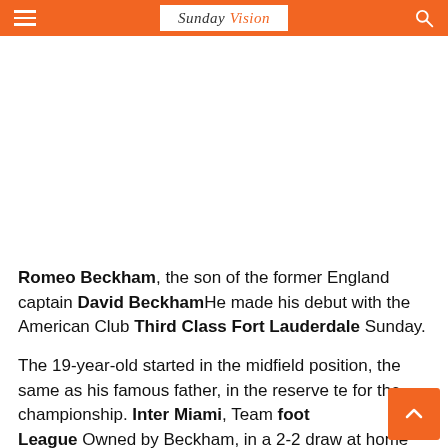Sunday Vision
[Figure (photo): Large image area (white/blank) occupying top portion of the article page below the header]
Romeo Beckham, the son of the former England captain David BeckhamHe made his debut with the American Club Third Class Fort Lauderdale Sunday.
The 19-year-old started in the midfield position, the same as his famous father, in the reserve te for the championship. Inter Miami, Team foot League Owned by Beckham, in a 2-2 draw at home